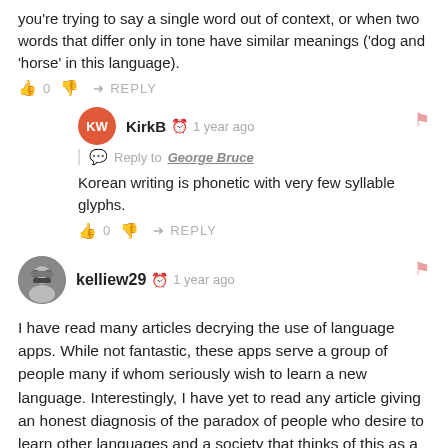you're trying to say a single word out of context, or when two words that differ only in tone have similar meanings ('dog and 'horse' in this language).
👍 0  👎  ➜ REPLY
KirkB  🕐 1 year ago
Reply to George Bruce
Korean writing is phonetic with very few syllable glyphs.
👍 0  👎  ➜ REPLY
kelliew29  🕐 1 year ago
I have read many articles decrying the use of language apps. While not fantastic, these apps serve a group of people many if whom seriously wish to learn a new language. Interestingly, I have yet to read any article giving an honest diagnosis of the paradox of people who desire to learn other languages and a society that thinks of this as a foolish exercise. Perhaps rather than criticizing these apps amd the people who use them, we would get further ahead by developing programs that truly teach foreign